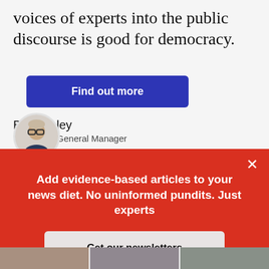voices of experts into the public discourse is good for democracy.
Find out more
Beth Daley
Editor and General Manager
[Figure (photo): Circular portrait photo of Beth Daley, a woman with glasses and light hair]
Add evidence-based articles to your news diet. No uninformed pundits. Just experts
Get our newsletters
[Figure (photo): Bottom strip showing partial photos of people]